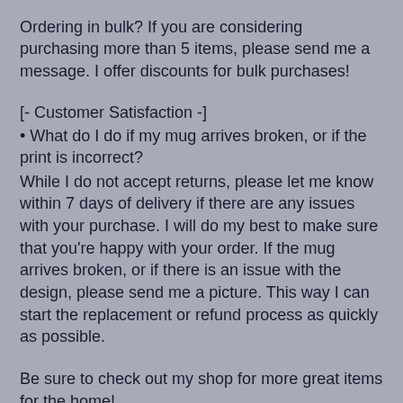Ordering in bulk? If you are considering purchasing more than 5 items, please send me a message. I offer discounts for bulk purchases!
[- Customer Satisfaction -]
• What do I do if my mug arrives broken, or if the print is incorrect?
While I do not accept returns, please let me know within 7 days of delivery if there are any issues with your purchase. I will do my best to make sure that you're happy with your order. If the mug arrives broken, or if there is an issue with the design, please send me a picture. This way I can start the replacement or refund process as quickly as possible.
Be sure to check out my shop for more great items for the home!
If you are looking for a design or product that's not